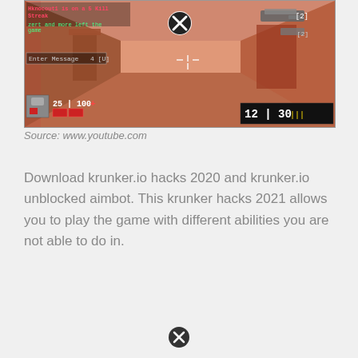[Figure (screenshot): Screenshot of the online first-person shooter game krunker.io showing in-game HUD with health bar, ammo counter showing 12|30 with bullets, weapon icons, kill notifications in pink/red text, and a close/exit button overlay in the center top.]
Source: www.youtube.com
Download krunker.io hacks 2020 and krunker.io unblocked aimbot. This krunker hacks 2021 allows you to play the game with different abilities you are not able to do in.